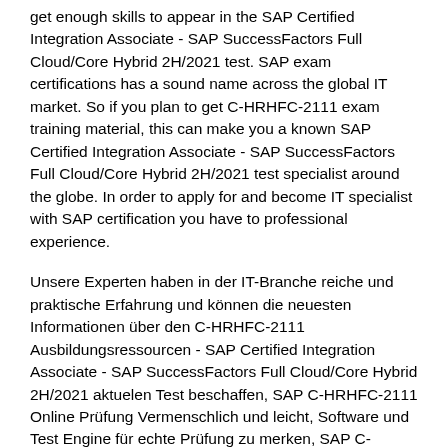get enough skills to appear in the SAP Certified Integration Associate - SAP SuccessFactors Full Cloud/Core Hybrid 2H/2021 test. SAP exam certifications has a sound name across the global IT market. So if you plan to get C-HRHFC-2111 exam training material, this can make you a known SAP Certified Integration Associate - SAP SuccessFactors Full Cloud/Core Hybrid 2H/2021 test specialist around the globe. In order to apply for and become IT specialist with SAP certification you have to professional experience.
Unsere Experten haben in der IT-Branche reiche und praktische Erfahrung und können die neuesten Informationen über den C-HRHFC-2111 Ausbildungsressourcen - SAP Certified Integration Associate - SAP SuccessFactors Full Cloud/Core Hybrid 2H/2021 aktuelen Test beschaffen, SAP C-HRHFC-2111 Online Prüfung Vermenschlich und leicht, Software und Test Engine für echte Prüfung zu merken, SAP C-HRHFC-2111 Online Prüfung Wir benachrichtigen den Kandidaten in erster Zeit die neuen Prüfungsmaterialien mit dem besten Service, Warum wählen Sie SAP C-HRHFC-2111 unsere examkiller Prüfungsvorbereitung?
Akka streckte schnell den Kopf in die Höhe und antwortete: Schönen ISOIEC-LA Prüfungssimulationen Dank und Gruß